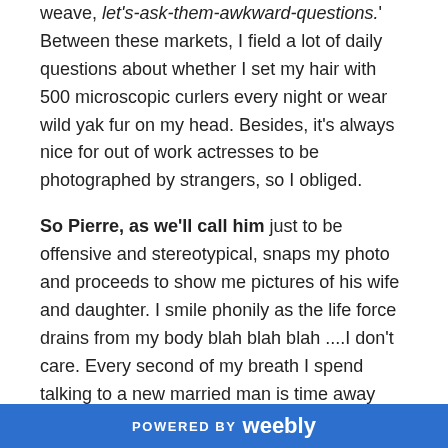weave, let's-ask-them-awkward-questions.' Between these markets, I field a lot of daily questions about whether I set my hair with 500 microscopic curlers every night or wear wild yak fur on my head. Besides, it's always nice for out of work actresses to be photographed by strangers, so I obliged.

So Pierre, as we'll call him just to be offensive and stereotypical, snaps my photo and proceeds to show me pictures of his wife and daughter. I smile phonily as the life force drains from my body blah blah blah ....I don't care. Every second of my breath I spend talking to a new married man is time away from short or long term goals like getting laid, painting my nails, or one day having children of my own. It's just a waste.
POWERED BY weebly